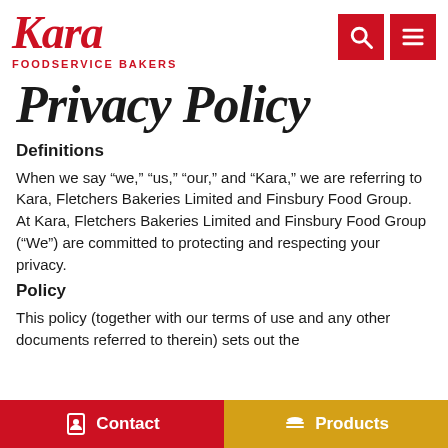Kara Foodservice Bakers
Privacy Policy
Definitions
When we say “we,” “us,” “our,” and “Kara,” we are referring to Kara, Fletchers Bakeries Limited and Finsbury Food Group.  At Kara, Fletchers Bakeries Limited and Finsbury Food Group (“We”) are committed to protecting and respecting your privacy.
Policy
This policy (together with our terms of use and any other documents referred to therein) sets out the
Contact   Products